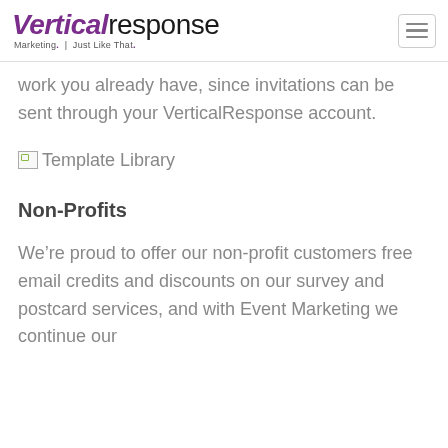VerticalResponse Marketing. Just Like That.
work you already have, since invitations can be sent through your VerticalResponse account.
[Figure (illustration): Broken image placeholder with 'Template Library' alt text label]
Non-Profits
We’re proud to offer our non-profit customers free email credits and discounts on our survey and postcard services, and with Event Marketing we continue our